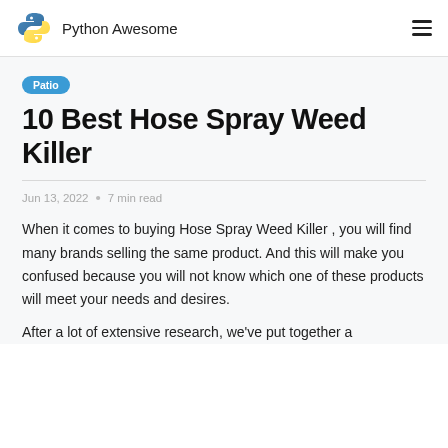Python Awesome
Patio
10 Best Hose Spray Weed Killer
Jun 13, 2022 • 7 min read
When it comes to buying Hose Spray Weed Killer , you will find many brands selling the same product. And this will make you confused because you will not know which one of these products will meet your needs and desires.
After a lot of extensive research, we've put together a